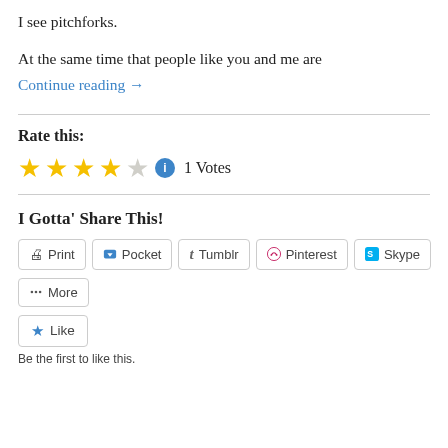I see pitchforks.
At the same time that people like you and me are
Continue reading →
Rate this:
★★★★☆ ⓘ 1 Votes
I Gotta' Share This!
Print
Pocket
Tumblr
Pinterest
Skype
More
Like
Be the first to like this.